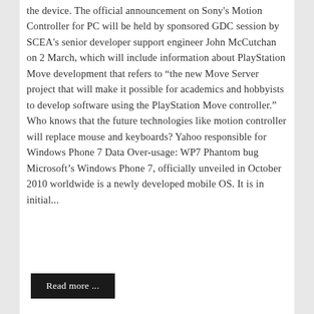the device. The official announcement on Sony's Motion Controller for PC will be held by sponsored GDC session by SCEA's senior developer support engineer John McCutchan on 2 March, which will include information about PlayStation Move development that refers to “the new Move Server project that will make it possible for academics and hobbyists to develop software using the PlayStation Move controller.” Who knows that the future technologies like motion controller will replace mouse and keyboards? Yahoo responsible for Windows Phone 7 Data Over-usage: WP7 Phantom bug Microsoft’s Windows Phone 7, officially unveiled in October 2010 worldwide is a newly developed mobile OS. It is in initial...
Read more ...